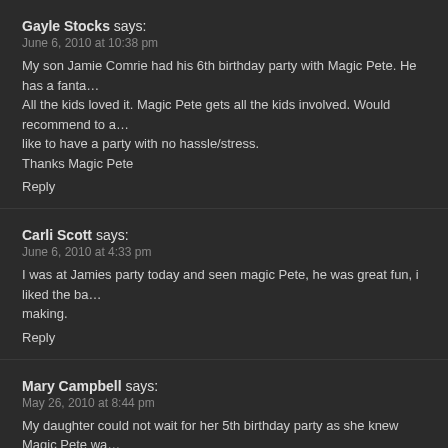Gayle Stocks says:
June 6, 2010 at 10:38 pm
My son Jamie Comrie had his 6th birthday party with Magic Pete. He has a fanta... All the kids loved it. Magic Pete gets all the kids involved. Would recommend to a... like to have a party with no hassle/stress.
Thanks Magic Pete
Reply
Carli Scott says:
June 6, 2010 at 4:33 pm
I was at Jamies party today and seen magic Pete, he was great fun, i liked the ba... making.
Reply
Mary Campbell says:
May 26, 2010 at 8:44 pm
My daughter could not wait for her 5th birthday party as she knew Magic Pete wa... and she had a fantastic day. Magic Pete made her feel so special and she was th... also kept all of our other guests involved too and her friends had a great time. We... and Magic Pete's show was just fine in the house, it meant that we could ask my... relatives too. We all enjoyed it, adults and kids and one of the mum's have alre...